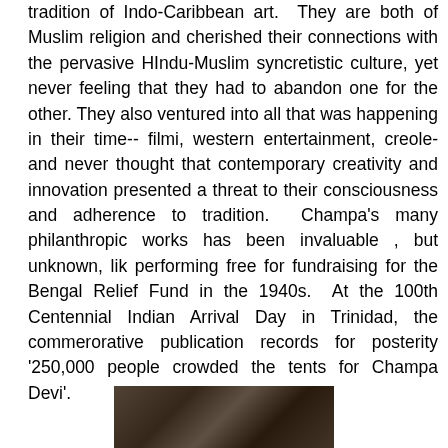tradition of Indo-Caribbean art. They are both of Muslim religion and cherished their connections with the pervasive HIndu-Muslim syncretistic culture, yet never feeling that they had to abandon one for the other. They also ventured into all that was happening in their time-- filmi, western entertainment, creole- and never thought that contemporary creativity and innovation presented a threat to their consciousness and adherence to tradition. Champa's many philanthropic works has been invaluable , but unknown, lik performing free for fundraising for the Bengal Relief Fund in the 1940s. At the 100th Centennial Indian Arrival Day in Trinidad, the commerorative publication records for posterity '250,000 people crowded the tents for Champa Devi'.
[Figure (photo): A partially visible photograph at the bottom of the page showing dark background with indistinct figures.]